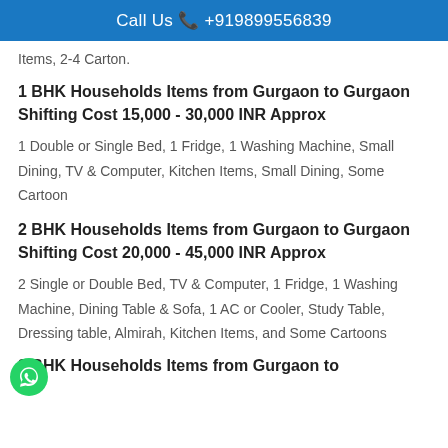Call Us ☎ +919899556839
Items, 2-4 Carton.
1 BHK Households Items from Gurgaon to Gurgaon Shifting Cost 15,000 - 30,000 INR Approx
1 Double or Single Bed, 1 Fridge, 1 Washing Machine, Small Dining, TV & Computer, Kitchen Items, Small Dining, Some Cartoon
2 BHK Households Items from Gurgaon to Gurgaon Shifting Cost 20,000 - 45,000 INR Approx
2 Single or Double Bed, TV & Computer, 1 Fridge, 1 Washing Machine, Dining Table & Sofa, 1 AC or Cooler, Study Table, Dressing table, Almirah, Kitchen Items, and Some Cartoons
3 BHK Households Items from Gurgaon to